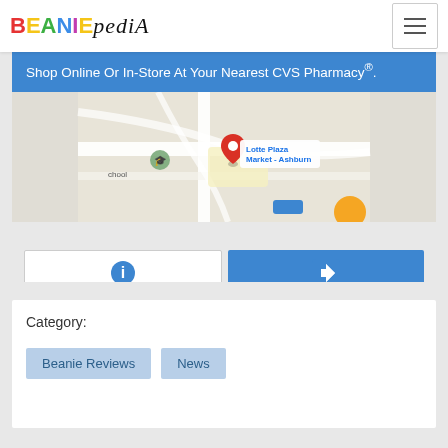BEANIEPEDIA
[Figure (screenshot): Google Maps screenshot showing a map with a red pin marker near Lotte Plaza Market - Ashburn location, with a school marker visible on the left side]
Shop Online Or In-Store At Your Nearest CVS Pharmacy®.
Category:
Beanie Reviews
News